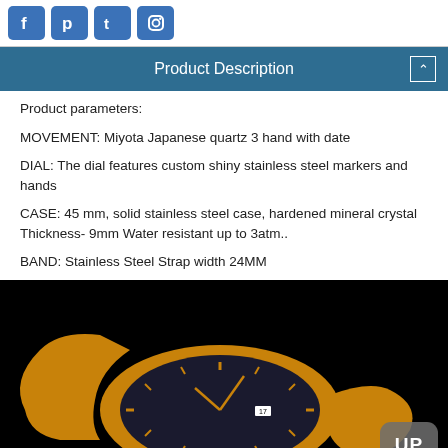[Figure (logo): Row of four social media icons (Facebook, Pinterest, Twitter, Instagram) in blue rounded square buttons]
Product Description
Product parameters:
MOVEMENT: Miyota Japanese quartz 3 hand with date
DIAL: The dial features custom shiny stainless steel markers and hands
CASE: 45 mm, solid stainless steel case, hardened mineral crystal Thickness- 9mm Water resistant up to 3atm..
BAND: Stainless Steel Strap width 24MM
[Figure (photo): Gold stainless steel watch with black dial on black background, with an 'UP' button overlay in the bottom right corner]